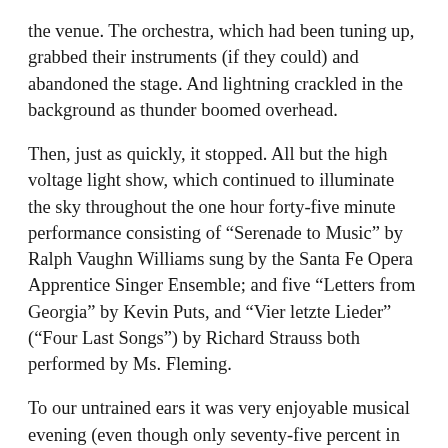the venue. The orchestra, which had been tuning up, grabbed their instruments (if they could) and abandoned the stage. And lightning crackled in the background as thunder boomed overhead.
Then, just as quickly, it stopped. All but the high voltage light show, which continued to illuminate the sky throughout the one hour forty-five minute performance consisting of “Serenade to Music” by Ralph Vaughn Williams sung by the Santa Fe Opera Apprentice Singer Ensemble; and five “Letters from Georgia” by Kevin Puts, and “Vier letzte Lieder” (“Four Last Songs”) by Richard Strauss both performed by Ms. Fleming.
To our untrained ears it was very enjoyable musical evening (even though only seventy-five percent in English) that was enhanced even more by the background pyrotechnics. (Here is what the local opera critic thought.)
Fortunately the second storm ended before we made our